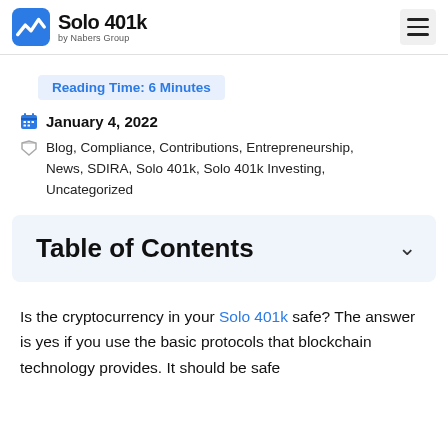Solo 401k by Nabers Group
Reading Time: 6 Minutes
January 4, 2022
Blog, Compliance, Contributions, Entrepreneurship, News, SDIRA, Solo 401k, Solo 401k Investing, Uncategorized
Table of Contents
Is the cryptocurrency in your Solo 401k safe? The answer is yes if you use the basic protocols that blockchain technology provides. It should be safe